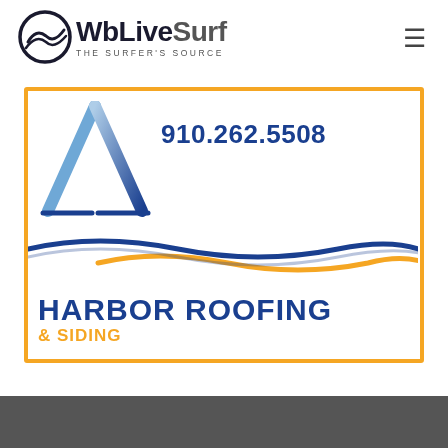[Figure (logo): WbLiveSurf - The Surfer's Source logo with wave/circle icon]
[Figure (logo): Harbor Roofing & Siding advertisement with phone number 910.262.5508, roof peak icon, and wave graphic. Gold border.]